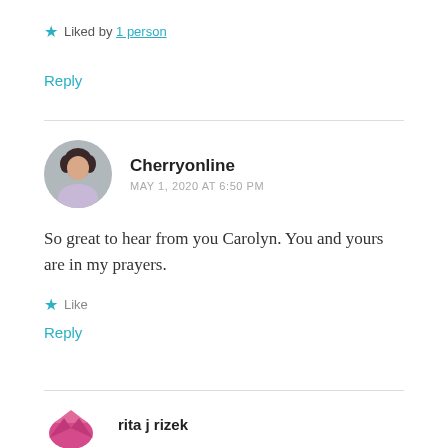★ Liked by 1 person
Reply
Cherryonline
MAY 1, 2020 AT 6:50 PM
So great to hear from you Carolyn. You and yours are in my prayers.
★ Like
Reply
rita j rizek